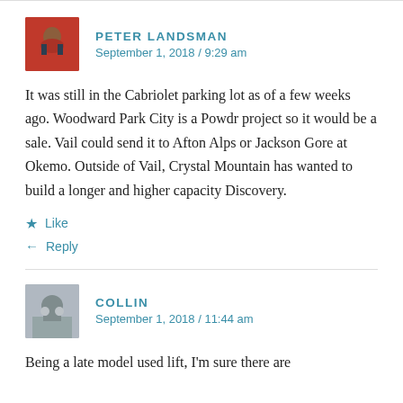PETER LANDSMAN
September 1, 2018 / 9:29 am
It was still in the Cabriolet parking lot as of a few weeks ago. Woodward Park City is a Powdr project so it would be a sale. Vail could send it to Afton Alps or Jackson Gore at Okemo. Outside of Vail, Crystal Mountain has wanted to build a longer and higher capacity Discovery.
Like
Reply
COLLIN
September 1, 2018 / 11:44 am
Being a late model used lift, I'm sure there are